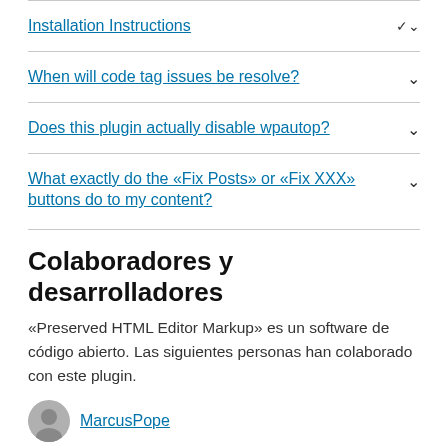Installation Instructions
When will code tag issues be resolve?
Does this plugin actually disable wpautop?
What exactly do the «Fix Posts» or «Fix XXX» buttons do to my content?
Colaboradores y desarrolladores
«Preserved HTML Editor Markup» es un software de código abierto. Las siguientes personas han colaborado con este plugin.
MarcusPope